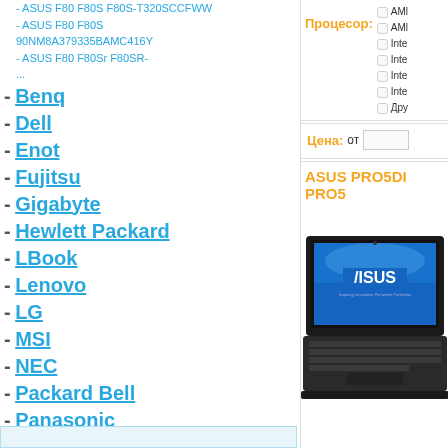- ASUS F80 F80S F80S-T320SCCFWW
- ASUS F80 F80S 90NM8A379335BAMC416Y
- ASUS F80 F80Sr F80SR-...
- Benq
- Dell
- Enot
- Fujitsu
- Gigabyte
- Hewlett Packard
- LBook
- Lenovo
- LG
- MSI
- NEC
- Packard Bell
- Panasonic
- Samsung
- Sony
- Toshiba
- ViewSonic
Процесор:
AMD
AMD
Inte
Inte
Inte
Inte
Дру
Цена: от
ASUS PRO5DI PRO5...
[Figure (photo): ASUS laptop photo showing the laptop open with ASUS logo on screen]